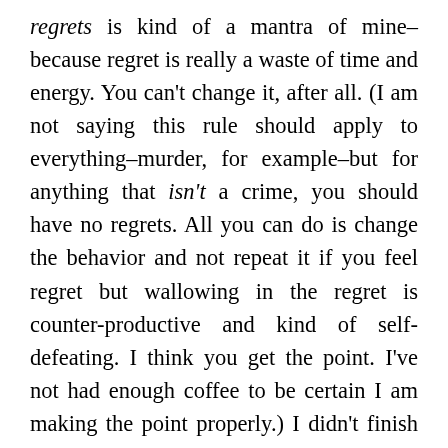regrets is kind of a mantra of mine–because regret is really a waste of time and energy. You can't change it, after all. (I am not saying this rule should apply to everything–murder, for example–but for anything that isn't a crime, you should have no regrets. All you can do is change the behavior and not repeat it if you feel regret but wallowing in the regret is counter-productive and kind of self-defeating. I think you get the point. I've not had enough coffee to be certain I am making the point properly.) I didn't finish reading my book, I didn't write nearly as much as I could have, and I certainly didn't